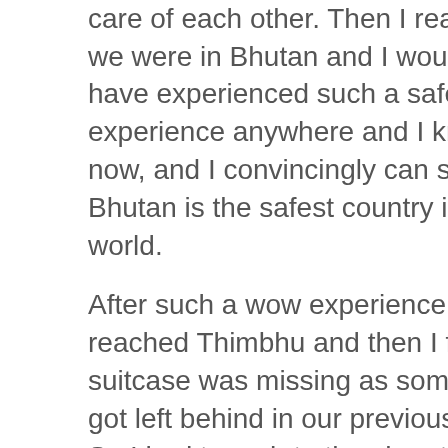the respect, love and how they take care of each other. Then I realized we were in Bhutan and I wouldn't have experienced such a safe experience anywhere and I know now, and I convincingly can say Bhutan is the safest country in the world.
After such a wow experience we reached Thimbhu and then I find my suitcase was missing as somehow it got left behind in our previous hotel. So I had to rush to the shop to get the toiletries and other emergency items as it was too late, the shops just had 15 minutes to close and even though we couldn't communicate due to language barrier, we still picked up and the staff were waiting for us to finish the shopping and they didn't even show that they are in a hurry to shut the shop and they also helped us by getting us things not available in their shop from the neighboring shops and then had to borrow some clothes from Sur (Friend and now my partner). In the meantime Santosh was trying to figure out how did my suitcase went...